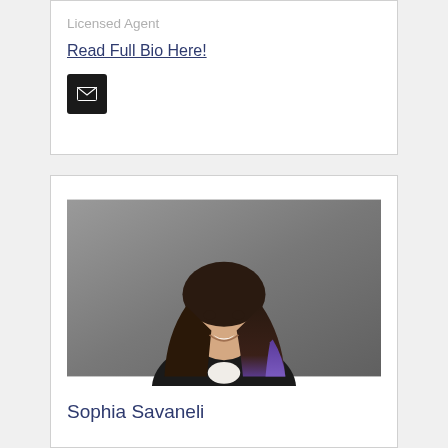Licensed Agent
Read Full Bio Here!
[Figure (other): Email contact button — black rounded square with white envelope icon]
[Figure (photo): Professional headshot of Sophia Savaneli, a woman with long dark brown and purple-highlighted wavy hair, wearing a black blazer, smiling against a gray background]
Sophia Savaneli